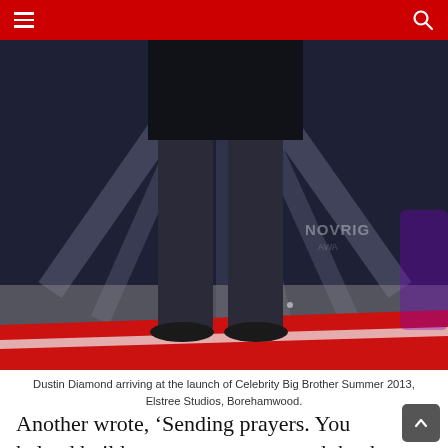[Figure (photo): A person (Dustin Diamond) standing on a stage at Celebrity Big Brother launch, wearing dark jeans and a dark top, with dramatic stage lighting and a red carpet visible. A Novarig sign is partially visible in the background.]
Dustin Diamond arriving at the launch of Celebrity Big Brother Summer 2013, Elstree Studios, Borehamwood.
Another wrote, ‘Sending prayers. You helped build my teenage years, and thank you for the laughs and